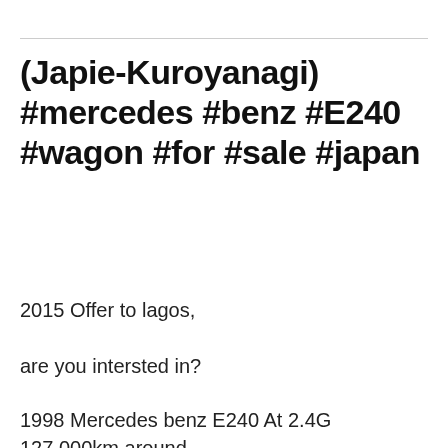(Japie-Kuroyanagi) #mercedes #benz #E240 #wagon #for #sale #japan
2015 Offer to lagos,
are you intersted in?
1998 Mercedes benz E240 At 2.4G 127,000km around.
Privacy & Cookies: This site uses cookies. By continuing to use this website, you agree to their use.
To find out more, including how to control cookies, see here: Cookie Policy
Close and accept